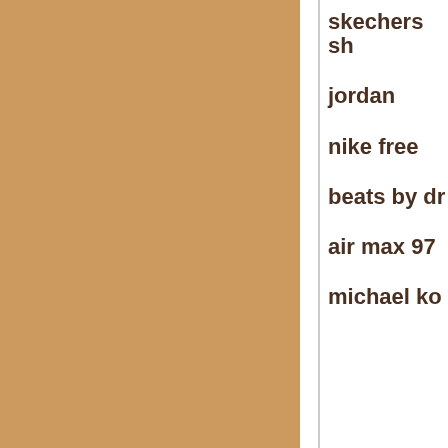[Figure (other): Solid tan/brown colored rectangle filling the left portion of the page]
skechers sh
jordan
nike free
beats by dr
air max 97
michael ko